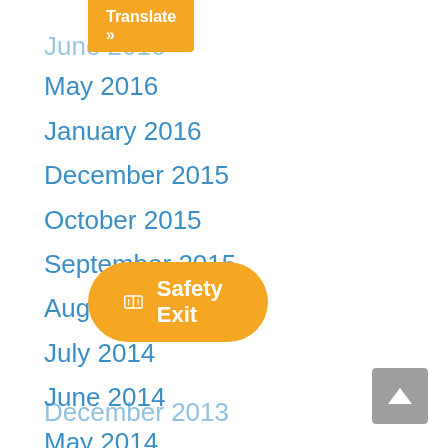[Figure (screenshot): Orange 'Translate »' button at top]
June 2016
May 2016
January 2016
December 2015
October 2015
September 2015
August 2014
July 2014
June 2014
May 2014
April 2014
March 2014
[Figure (screenshot): Orange rounded 'Safety Exit' button with map/book icon]
December 2013
[Figure (screenshot): Grey scroll-to-top arrow button]